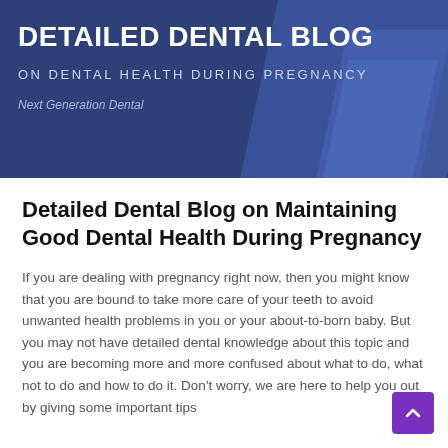[Figure (illustration): Dark blue banner with diagonal stripe accents on the right side. Contains the blog title 'DETAILED DENTAL BLOG', subtitle 'ON DENTAL HEALTH DURING PREGNANCY', and brand name 'Next Generation Dental'.]
Detailed Dental Blog on Maintaining Good Dental Health During Pregnancy
If you are dealing with pregnancy right now, then you might know that you are bound to take more care of your teeth to avoid unwanted health problems in you or your about-to-born baby. But you may not have detailed dental knowledge about this topic and you are becoming more and more confused about what to do, what not to do and how to do it. Don't worry, we are here to help you out by giving some important tips